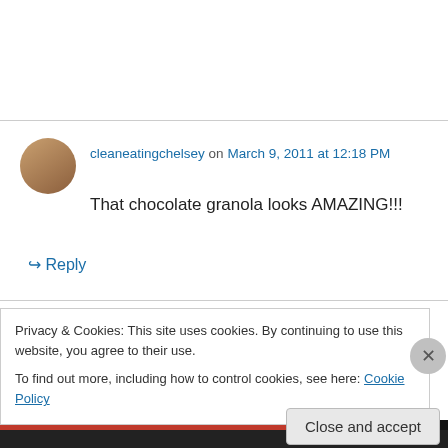cleaneatingchelsey on March 9, 2011 at 12:18 PM
That chocolate granola looks AMAZING!!!
↳ Reply
Jenny on March 9, 2011 at 12:43 PM
I've never made granola before, yours look
Privacy & Cookies: This site uses cookies. By continuing to use this website, you agree to their use. To find out more, including how to control cookies, see here: Cookie Policy
Close and accept